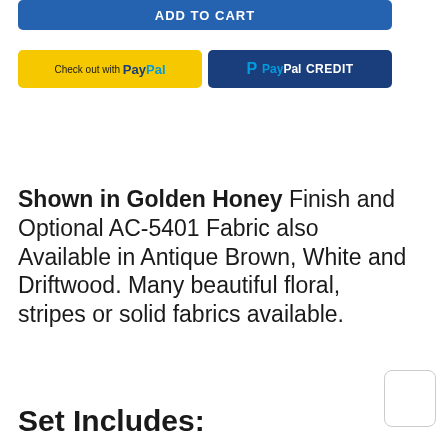[Figure (screenshot): ADD TO CART button — blue rounded rectangle]
[Figure (screenshot): PayPal checkout buttons row: 'Check out with PayPal' (gold) and 'PayPal CREDIT' (dark blue)]
Shown in Golden Honey Finish and Optional AC-5401 Fabric also Available in Antique Brown, White and Driftwood. Many beautiful floral, stripes or solid fabrics available.
Set Includes: